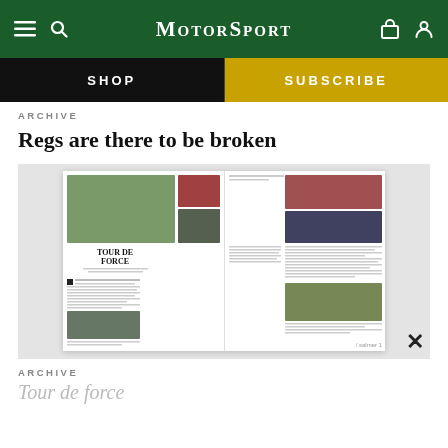MotorSport
SHOP
SUBSCRIBE
ARCHIVE
Regs are there to be broken
[Figure (photo): Magazine spread preview showing 'Tour de Force' article with racing car photographs]
ARCHIVE
Tour de force